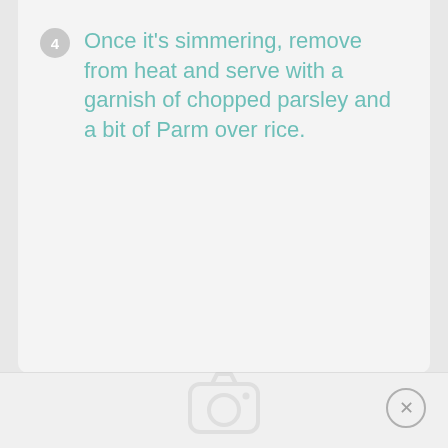4 Once it's simmering, remove from heat and serve with a garnish of chopped parsley and a bit of Parm over rice.
[Figure (other): Camera icon placeholder in bottom section of app interface]